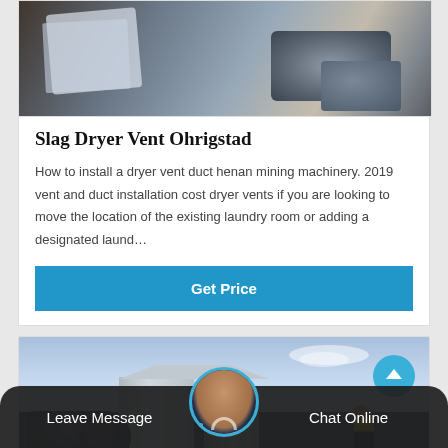[Figure (photo): Industrial dryer vent machinery photograph, partial view showing equipment components]
Slag Dryer Vent Ohrigstad
How to install a dryer vent duct henan mining machinery. 2019 vent and duct installation cost dryer vents if you are looking to move the location of the existing laundry room or adding a designated laund…
Get Price
[Figure (photo): Industrial facility with silos, pipes and machinery against a blue sky background]
Leave Message
Chat Online